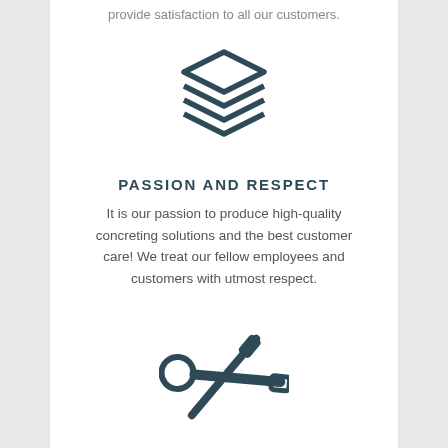provide satisfaction to all our customers.
[Figure (illustration): Stacked layers icon (three diamond/rhombus shapes stacked vertically) in dark teal color]
PASSION AND RESPECT
It is our passion to produce high-quality concreting solutions and the best customer care! We treat our fellow employees and customers with utmost respect.
[Figure (illustration): Crossed wrench and screwdriver tools icon in dark teal color]
EXCELLENCE